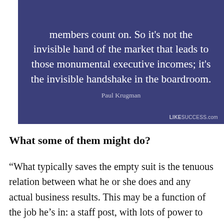[Figure (infographic): Dark blue/indigo quote card with white text: 'members count on. So it's not the invisible hand of the market that leads to those monumental executive incomes; it's the invisible handshake in the boardroom.' attributed to Paul Krugman. LIKESUCCESS.com watermark in bottom right.]
What some of them might do?
“What typically saves the empty suit is the tenuous relation between what he or she does and any actual business results. This may be a function of the job he’s in: a staff post, with lots of power to nix others’ initiatives but no